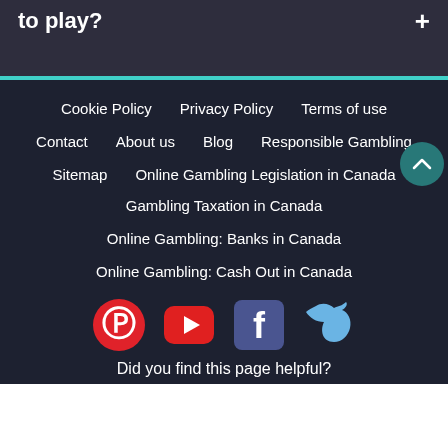to play?
Cookie Policy  Privacy Policy  Terms of use  Contact  About us  Blog  Responsible Gambling  Sitemap  Online Gambling Legislation in Canada  Gambling Taxation in Canada  Online Gambling: Banks in Canada  Online Gambling: Cash Out in Canada
[Figure (infographic): Social media icons: Pinterest (red P circle), YouTube (red play button), Facebook (blue f square), Twitter (blue bird)]
Did you find this page helpful?